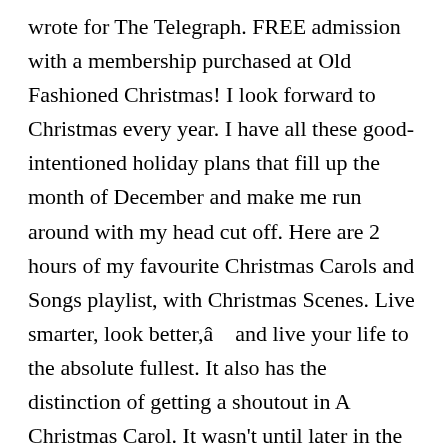wrote for The Telegraph. FREE admission with a membership purchased at Old Fashioned Christmas! I look forward to Christmas every year. I have all these good-intentioned holiday plans that fill up the month of December and make me run around with my head cut off. Here are 2 hours of my favourite Christmas Carols and Songs playlist, with Christmas Scenes. Live smarter, look better,â    and live your life to the absolute fullest. It also has the distinction of getting a shoutout in A Christmas Carol. It wasn't until later in the 1800s that retail and mass production led to more store-bought presents for Christmas. Speaking of British holiday traditions we should adopt here, let's add Smoking Bishops to that list. And since